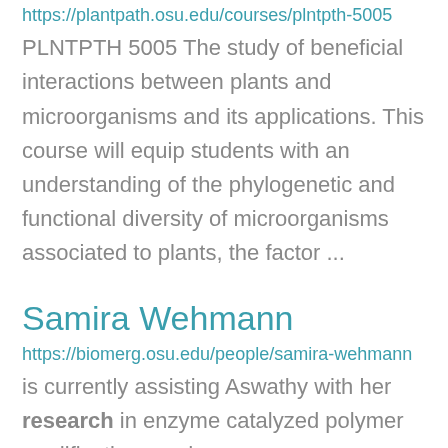https://plantpath.osu.edu/courses/plntpth-5005
PLNTPTH 5005 The study of beneficial interactions between plants and microorganisms and its applications. This course will equip students with an understanding of the phylogenetic and functional diversity of microorganisms associated to plants, the factor ...
Samira Wehmann
https://biomerg.osu.edu/people/samira-wehmann
is currently assisting Aswathy with her research in enzyme catalyzed polymer modifications and ...